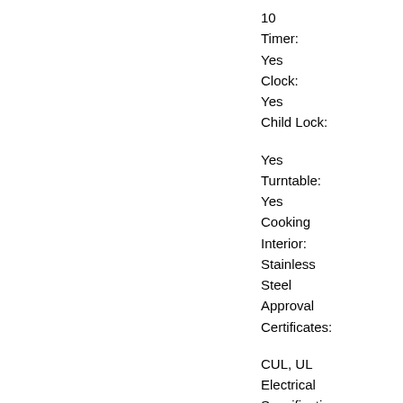10
Timer:
Yes
Clock:
Yes
Child Lock:
Yes
Turntable:
Yes
Cooking Interior:
Stainless Steel
Approval Certificates:
CUL, UL
Electrical Specifications